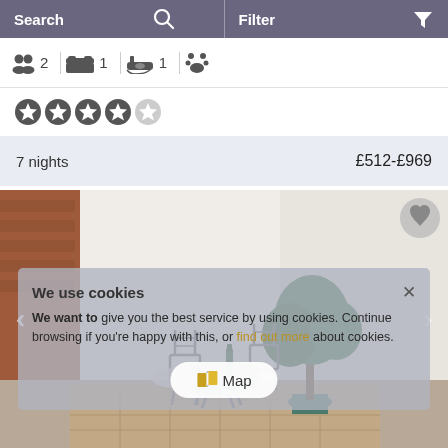Search | Filter
2 guests  1 bedroom  1 bathroom  pets allowed
4 out of 5 stars
7 nights   £512-£969
[Figure (photo): Outdoor patio with metal bistro table and chairs, a bottle on the table, a potted tree, brick wall background, tiled floor]
We use cookies
We want to give you the best service by using cookies. Continue browsing if you're happy with this, or find out more about cookies.
Map